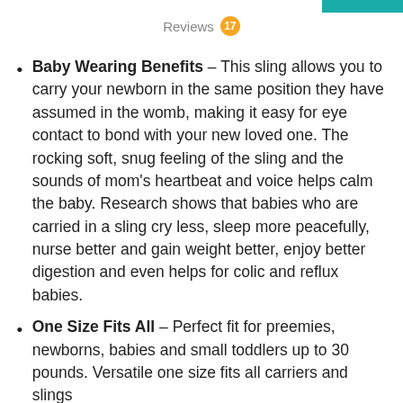Reviews 17
Baby Wearing Benefits – This sling allows you to carry your newborn in the same position they have assumed in the womb, making it easy for eye contact to bond with your new loved one. The rocking soft, snug feeling of the sling and the sounds of mom's heartbeat and voice helps calm the baby. Research shows that babies who are carried in a sling cry less, sleep more peacefully, nurse better and gain weight better, enjoy better digestion and even helps for colic and reflux babies.
One Size Fits All – Perfect fit for preemies, newborns, babies and small toddlers up to 30 pounds. Versatile one size fits all carriers and slings